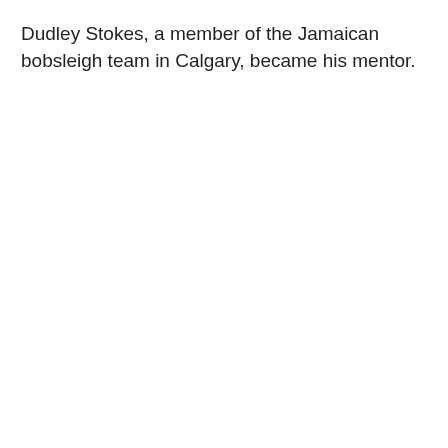Dudley Stokes, a member of the Jamaican bobsleigh team in Calgary, became his mentor.